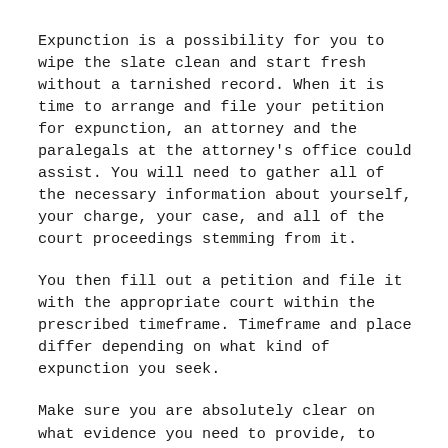Expunction is a possibility for you to wipe the slate clean and start fresh without a tarnished record. When it is time to arrange and file your petition for expunction, an attorney and the paralegals at the attorney's office could assist. You will need to gather all of the necessary information about yourself, your charge, your case, and all of the court proceedings stemming from it.
You then fill out a petition and file it with the appropriate court within the prescribed timeframe. Timeframe and place differ depending on what kind of expunction you seek.
Make sure you are absolutely clear on what evidence you need to provide, to whom, and when. You do not want to miss this opportunity because you forgot a date, delivered your petition to the wrong court, or filled out the right petition for the wrong type of expunction. Consult a qualified attorney that can guide you through the Texas